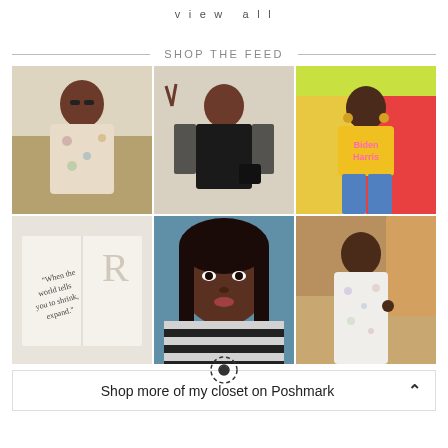view all
SHOP THE FEED
[Figure (photo): 3x2 photo grid showing 6 fashion/lifestyle Instagram photos: woman in floral outfit, woman in black leather dress, woman in Biden Harris yellow sweatshirt, open book with quote, woman selfie in striped top, woman in white floral dress]
Shop more of my closet on Poshmark